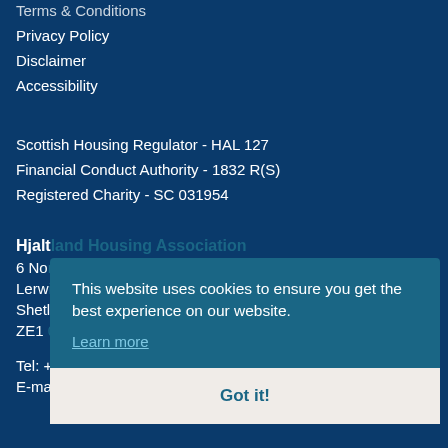Terms & Conditions
Privacy Policy
Disclaimer
Accessibility
Scottish Housing Regulator - HAL 127
Financial Conduct Authority - 1832 R(S)
Registered Charity - SC 031954
Hjalt...
6 No...
Lerw...
Shetl...
ZE1...

Tel: +...
E-ma...
This website uses cookies to ensure you get the best experience on our website.
Learn more
Got it!